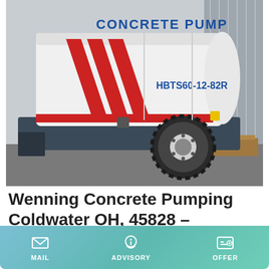[Figure (photo): Photo of a white concrete pump machine (HBTS60-12-82R) with red chevron stripe markings, dark blue chassis, large off-road tire, parked next to a corrugated metal building. Text on machine reads 'CONCRETE PUMP' in blue and 'HBTS60-12-82R' in blue.]
Wenning Concrete Pumping Coldwater OH, 45828 – Manta.Com
Wenning Concrete Pumping LLC. UNCLAIMED . This business is unclaimed. Owners who claim their business can update listing details, add photos, respond to reviews, and
MAIL   ADVISORY   OFFER